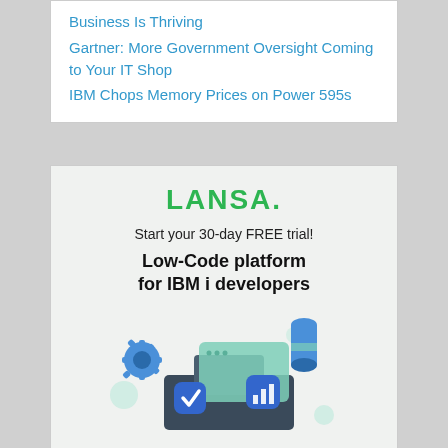Business Is Thriving
Gartner: More Government Oversight Coming to Your IT Shop
IBM Chops Memory Prices on Power 595s
[Figure (advertisement): LANSA advertisement featuring logo, '30-day FREE trial' tagline, 'Low-Code platform for IBM i developers' headline, an illustration of tech icons (gear, checkmark, chart icons with connected blocks), and a teaser 'Build enterprise-grade mobile, web, and desktop apps — all while operating...']
Start your 30-day FREE trial!
Low-Code platform for IBM i developers
Build enterprise-grade mobile, web, and desktop apps — all while operating